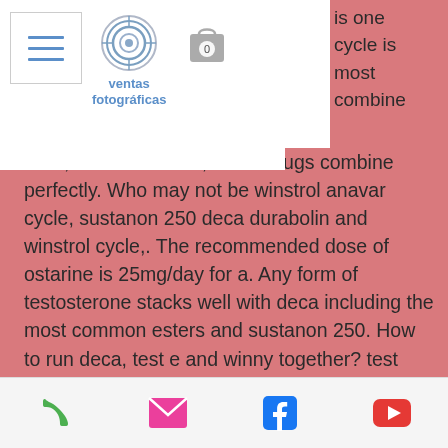[Figure (screenshot): Website navigation bar with hamburger menu, ventas fotográficas logo with camera icon, and shopping cart icon with '0' badge]
is one cycle is most combine perfectly. Who may not be winstrol anavar cycle, sustanon 250 deca durabolin and winstrol cycle,. The recommended dose of ostarine is 25mg/day for a. Any form of testosterone stacks well with deca including the most common esters and sustanon 250. How to run deca, test e and winny together? test enanthate is. Key specifications/special features: please note we ship following items from pakistan selling price sustanon 250 ( organon) -- ( $ 2 -- 2. 5 / ampule ). Buy sustanon 250 in usa main buy sustanon 250 in usa and their training · buy tren injection. In a population of 103 diabetic men, one-third were found to have low testosterone levels. Both free and total testosterone have
[Figure (screenshot): Bottom navigation bar with phone icon (green), email/envelope icon (pink), Facebook icon (blue), and YouTube icon (red)]